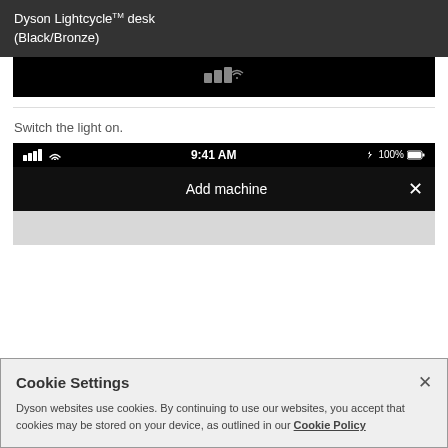Dyson Lightcycle™ desk (Black/Bronze)
[Figure (screenshot): Top portion of a phone screenshot showing a dark UI with a small icon on black background]
Switch the light on.
[Figure (screenshot): Phone screenshot showing status bar with signal bars, WiFi, 9:41 AM, Bluetooth, 100% battery, and 'Add machine' header with X close button, followed by light grey content area]
Cookie Settings
Dyson websites use cookies. By continuing to use our websites, you accept that cookies may be stored on your device, as outlined in our Cookie Policy